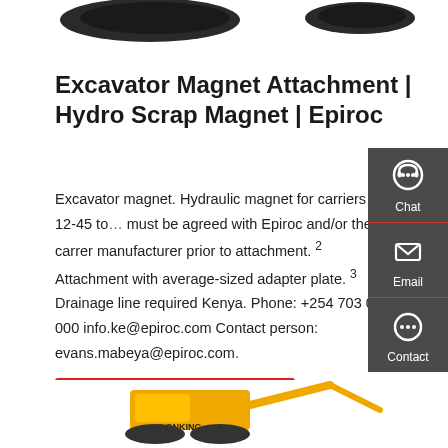[Figure (photo): Partial view of excavator magnet attachments (top, cropped)]
Excavator Magnet Attachment | Hydro Scrap Magnet | Epiroc
Excavator magnet. Hydraulic magnet for carriers of 12-45 to… must be agreed with Epiroc and/or the carrer manufacturer prior to attachment. ² Attachment with average-sized adapter plate. ³ Drainage line required Kenya. Phone: +254 703 054 000 info.ke@epiroc.com Contact person: evans.mabeya@epiroc.com.
[Figure (infographic): Sidebar with Chat, Email, and Contact icons on dark grey background]
[Figure (other): Get a quote red button]
[Figure (photo): Yellow Lonking excavator (bottom, partially cropped)]